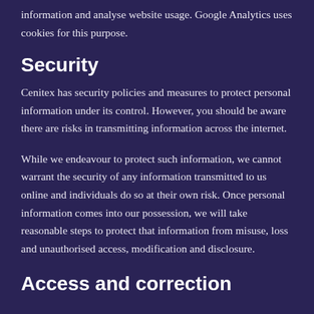information and analyse website usage. Google Analytics uses cookies for this purpose.
Security
Cenitex has security policies and measures to protect personal information under its control. However, you should be aware there are risks in transmitting information across the internet.
While we endeavour to protect such information, we cannot warrant the security of any information transmitted to us online and individuals do so at their own risk. Once personal information comes into our possession, we will take reasonable steps to protect that information from misuse, loss and unauthorised access, modification and disclosure.
Access and correction